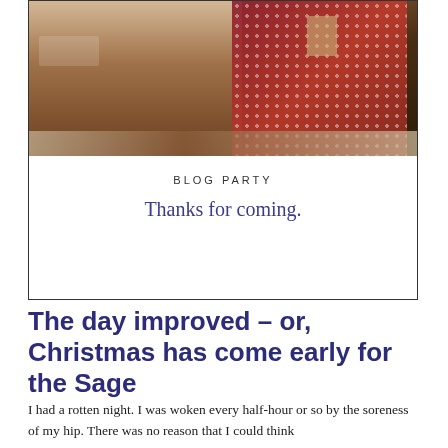[Figure (photo): A person in a red polka-dot dress or apron near a wooden cabinet or furniture, viewed from above at an angle. The scene appears to be a kitchen or dining area.]
BLOG PARTY
Thanks for coming.
The day improved – or, Christmas has come early for the Sage
I had a rotten night. I was woken every half-hour or so by the soreness of my hip. There was no reason that I could think